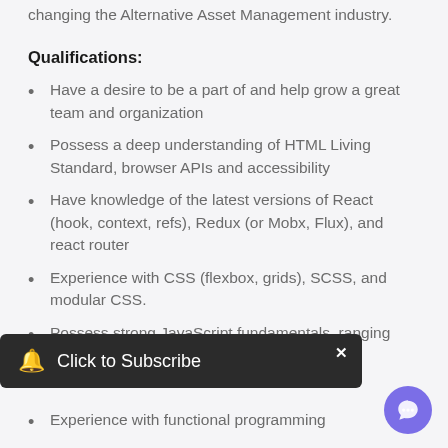changing the Alternative Asset Management industry.
Qualifications:
Have a desire to be a part of and help grow a great team and organization
Possess a deep understanding of HTML Living Standard, browser APIs and accessibility
Have knowledge of the latest versions of React (hook, context, refs), Redux (or Mobx, Flux), and react router
Experience with CSS (flexbox, grids), SCSS, and modular CSS.
Possess strong JavaScript fundamentals, ranging from core concepts to the latest
Experience with functional programming